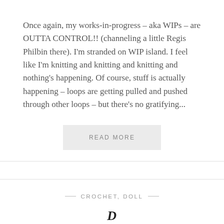Once again, my works-in-progress – aka WIPs – are OUTTA CONTROL!! (channeling a little Regis Philbin there). I'm stranded on WIP island. I feel like I'm knitting and knitting and knitting and nothing's happening. Of course, stuff is actually happening – loops are getting pulled and pushed through other loops – but there's no gratifying...
READ MORE
— CROCHET, DOLL —